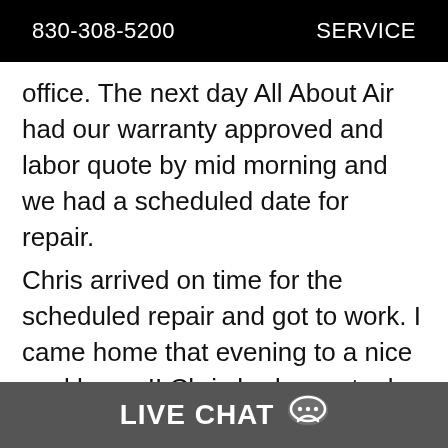830-308-5200   SERVICE
office. The next day All About Air had our warranty approved and labor quote by mid morning and we had a scheduled date for repair.
Chris arrived on time for the scheduled repair and got to work. I came home that evening to a nice cool house!! Chris had even took down a partition we had put up in our kitchen and folded it up nicely.
All About Air and Chris is a treasure to have in our community.
LIVE CHAT